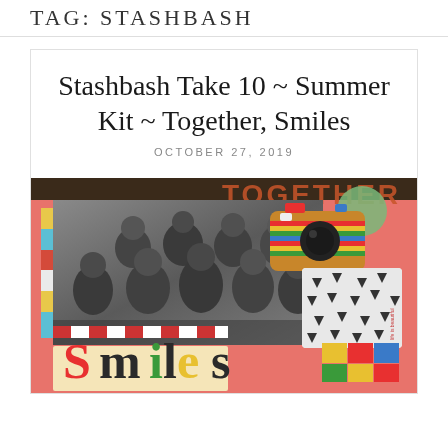TAG: STASHBASH
Stashbash Take 10 ~ Summer Kit ~ Together, Smiles
OCTOBER 27, 2019
[Figure (photo): Scrapbook layout on a coral/salmon pink background. Features a black-and-white family group photo on the left with colorful decorative strips and borders. A decorative camera embellishment with colorful stripes sits to the right of the photo. A green circular embellishment is partially visible behind the camera. A black-and-white polka/triangle dot patterned card is below the camera. The word 'smiles' is written in large colorful lettering at the bottom left. Colorful sticker patches appear at the bottom right. The background is a dark wood table surface at the top. The word 'TOGETHER' appears in large letters at the top right of the layout.]